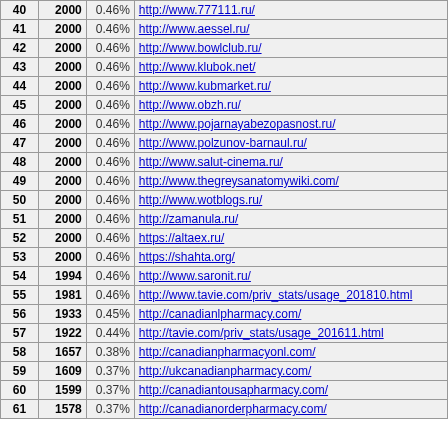| # | Count | % | URL |
| --- | --- | --- | --- |
| 40 | 2000 | 0.46% | http://www.777111.ru/ |
| 41 | 2000 | 0.46% | http://www.aessel.ru/ |
| 42 | 2000 | 0.46% | http://www.bowlclub.ru/ |
| 43 | 2000 | 0.46% | http://www.klubok.net/ |
| 44 | 2000 | 0.46% | http://www.kubmarket.ru/ |
| 45 | 2000 | 0.46% | http://www.obzh.ru/ |
| 46 | 2000 | 0.46% | http://www.pojarnayabezopasnost.ru/ |
| 47 | 2000 | 0.46% | http://www.polzunov-barnaul.ru/ |
| 48 | 2000 | 0.46% | http://www.salut-cinema.ru/ |
| 49 | 2000 | 0.46% | http://www.thegreysanatomywiki.com/ |
| 50 | 2000 | 0.46% | http://www.wotblogs.ru/ |
| 51 | 2000 | 0.46% | http://zamanula.ru/ |
| 52 | 2000 | 0.46% | https://altaex.ru/ |
| 53 | 2000 | 0.46% | https://shahta.org/ |
| 54 | 1994 | 0.46% | http://www.saronit.ru/ |
| 55 | 1981 | 0.46% | http://www.tavie.com/priv_stats/usage_201810.html |
| 56 | 1933 | 0.45% | http://canadianlpharmacy.com/ |
| 57 | 1922 | 0.44% | http://tavie.com/priv_stats/usage_201611.html |
| 58 | 1657 | 0.38% | http://canadianpharmacyonl.com/ |
| 59 | 1609 | 0.37% | http://ukcanadianpharmacy.com/ |
| 60 | 1599 | 0.37% | http://canadiantousapharmacy.com/ |
| 61 | 1578 | 0.37% | http://canadianorderpharmacy.com/ |